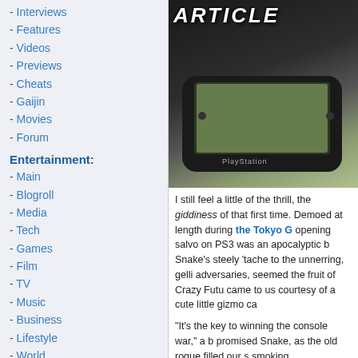- Interviews
- Features
- Videos
- Previews
- Cheats
- Gaijin
- Movies
- Forum
Entertainment:
- Main
- Blogroll
- Media
- Tech
- Games
- Film
- TV
- Music
- Business
- Lifestyle
- World
[Figure (screenshot): Monthly Archives dropdown selector]
[Figure (infographic): What we do today... advertisement banner with Ziff logo]
[Figure (photo): ARTICLE header image with PlayStation Vita/PSP device close-up]
I still feel a little of the thrill, the giddiness of that first time. Demoed at length during the Tokyo G opening salvo on PS3 was an apocalyptic b Snake's steely 'tache to the unnerring, gelli adversaries, seemed the fruit of Crazy Futu came to us courtesy of a cute little gizmo ca
"It's the key to winning the console war," a b promised Snake, as the old rogue filled our s smoking magnificence, our trousers with ecs myself, mightily agog. I've got to get me one
Fast forward to last month's Sony presser...